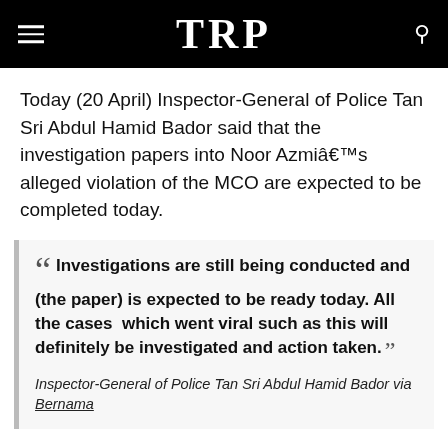TRP
Today (20 April) Inspector-General of Police Tan Sri Abdul Hamid Bador said that the investigation papers into Noor Azmiâ€™s alleged violation of the MCO are expected to be completed today.
“ Investigations are still being conducted and (the paper) is expected to be ready today. All the cases which went viral such as this will definitely be investigated and action taken. ” Inspector-General of Police Tan Sri Abdul Hamid Bador via Bernama